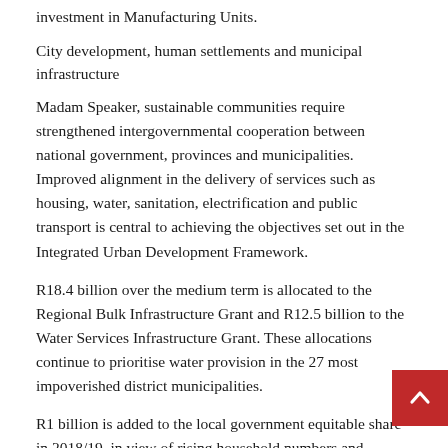investment in Manufacturing Units.
City development, human settlements and municipal infrastructure
Madam Speaker, sustainable communities require strengthened intergovernmental cooperation between national government, provinces and municipalities. Improved alignment in the delivery of services such as housing, water, sanitation, electrification and public transport is central to achieving the objectives set out in the Integrated Urban Development Framework.
R18.4 billion over the medium term is allocated to the Regional Bulk Infrastructure Grant and R12.5 billion to the Water Services Infrastructure Grant. These allocations continue to prioritise water provision in the 27 most impoverished district municipalities.
R1 billion is added to the local government equitable share in 2018/19, in view of rising household numbers and infrastructure maintenance requirements.